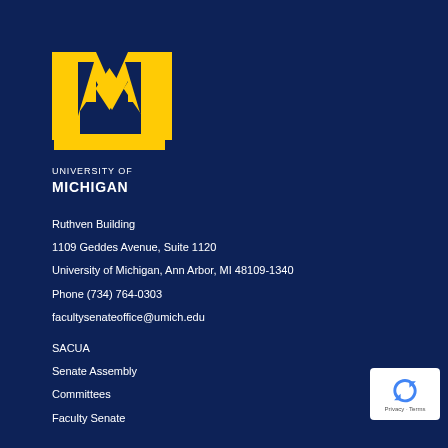[Figure (logo): University of Michigan block M logo in yellow/gold with navy background, followed by 'UNIVERSITY OF MICHIGAN' text in white]
Ruthven Building
1109 Geddes Avenue, Suite 1120
University of Michigan, Ann Arbor, MI 48109-1340
Phone (734) 764-0303
facultysenateoffice@umich.edu
SACUA
Senate Assembly
Committees
Faculty Senate
[Figure (logo): reCAPTCHA badge with blue circular arrow icon and 'Privacy - Terms' text on white background]